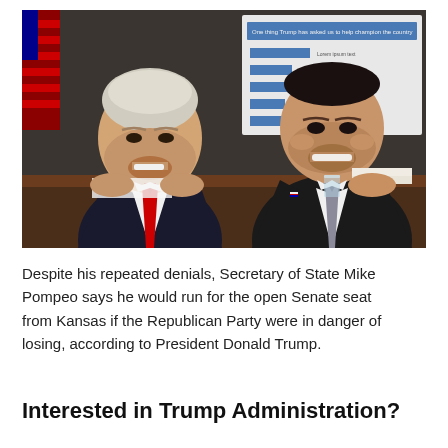[Figure (photo): Two men in suits sitting at a conference table and smiling. The man on the left wears a navy suit with a red tie and has white hair. The man on the right wears a dark suit with a gray tie. Behind them is a whiteboard or presentation board with diagrams. An American flag is partially visible on the left side.]
Despite his repeated denials, Secretary of State Mike Pompeo says he would run for the open Senate seat from Kansas if the Republican Party were in danger of losing, according to President Donald Trump.
Interested in Trump Administration?